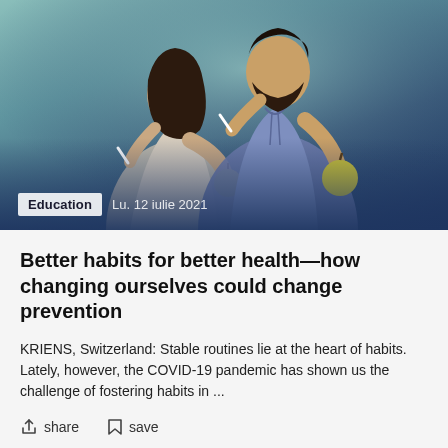[Figure (photo): Two people in bathrobes brushing teeth and holding yellow apples, posed back-to-back against a teal-to-dark-blue gradient background. A woman on the left with long dark hair and a man on the right with a beard. Category label 'Education' and date 'Lu. 12 iulie 2021' overlaid at the bottom left.]
Better habits for better health—how changing ourselves could change prevention
KRIENS, Switzerland: Stable routines lie at the heart of habits. Lately, however, the COVID-19 pandemic has shown us the challenge of fostering habits in ...
share
save